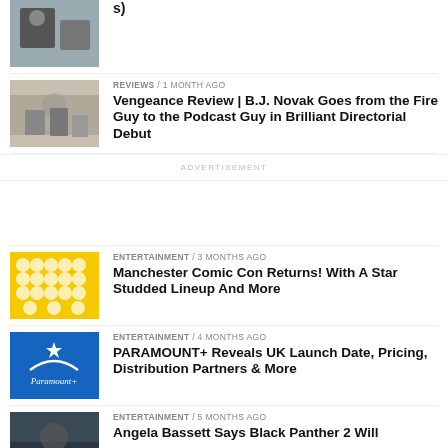[Figure (photo): Partial article row at top with photo thumbnail]
s)
[Figure (photo): Film/outdoor scene with people]
REVIEWS / 1 month ago
Vengeance Review | B.J. Novak Goes from the Fire Guy to the Podcast Guy in Brilliant Directorial Debut
ADVERTISEMENT
[Figure (photo): Manchester Comic Con yellow poster with circular cast photos]
ENTERTAINMENT / 3 months ago
Manchester Comic Con Returns! With A Star Studded Lineup And More
[Figure (logo): Paramount+ blue logo]
ENTERTAINMENT / 4 months ago
PARAMOUNT+ Reveals UK Launch Date, Pricing, Distribution Partners & More
[Figure (photo): Dark scene photo for Angela Bassett article]
ENTERTAINMENT / 5 months ago
Angela Bassett Says Black Panther 2 Will